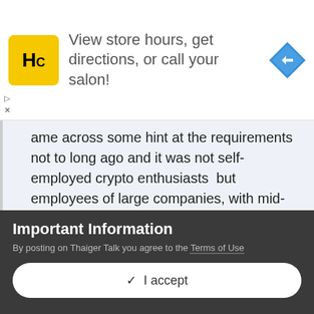[Figure (screenshot): Advertisement banner for a salon locator app. Shows HC logo (yellow square with black HC letters), text 'View store hours, get directions, or call your salon!', and a blue navigation arrow icon.]
ame across some hint at the requirements not to long ago and it was not self-employed crypto enthusiasts  but employees of large companies, with mid-range salaries, on contracts of at least 6months or more, etc. who would qualify. If memory serves.
Yes, I remember when it was first floated and those seemed reasonable at the time. Fingers crossed.
Important Information
By posting on Thaiger Talk you agree to the Terms of Use
✓  I accept